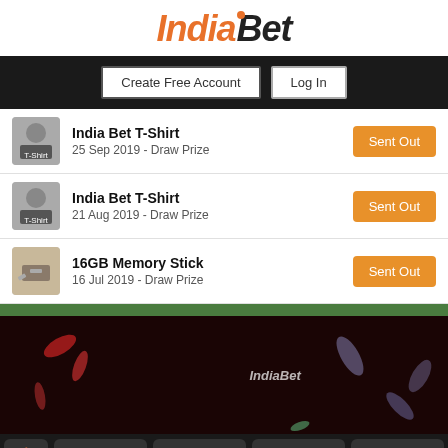[Figure (logo): IndiaBet logo with orange 'India' italic text and black 'Bet' italic text with orange dot above i]
Create Free Account | Log In
India Bet T-Shirt - 25 Sep 2019 - Draw Prize - Sent Out
India Bet T-Shirt - 21 Aug 2019 - Draw Prize - Sent Out
16GB Memory Stick - 16 Jul 2019 - Draw Prize - Sent Out
[Figure (screenshot): PariMatch and IndiaBet co-branded advertisement banner with dark background and colorful elements. Shows 18+ and AD badges in top right corner.]
Home | Betting | Prizes | Shop | News